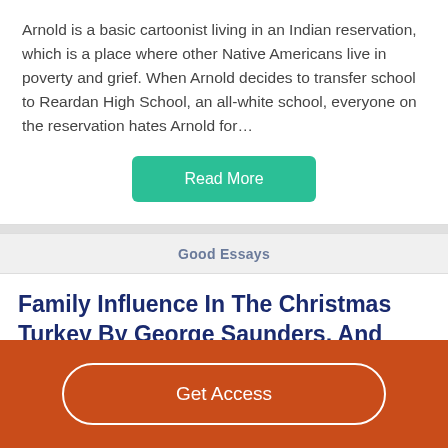Arnold is a basic cartoonist living in an Indian reservation, which is a place where other Native Americans live in poverty and grief. When Arnold decides to transfer school to Reardan High School, an all-white school, everyone on the reservation hates Arnold for…
Read More
Good Essays
Family Influence In The Christmas Turkey By George Saunders, And Oxherding Tale
2023 Words
Get Access